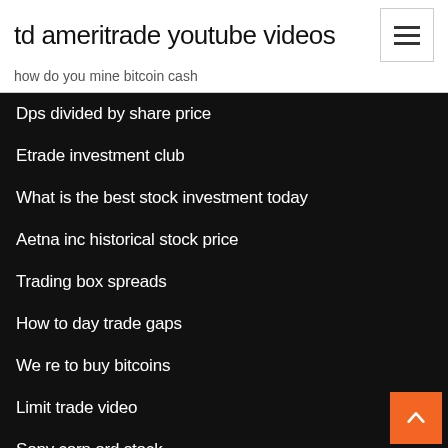td ameritrade youtube videos
how do you mine bitcoin cash
Dps divided by share price
Etrade investment club
What is the best stock investment today
Aetna inc historical stock price
Trading box spreads
How to day trade gaps
We re to buy bitcoins
Limit trade video
Sony corp ord stock
Online share trading investment clubs